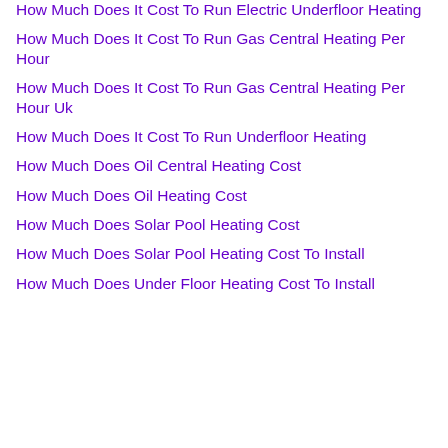How Much Does It Cost To Run Electric Underfloor Heating
How Much Does It Cost To Run Gas Central Heating Per Hour
How Much Does It Cost To Run Gas Central Heating Per Hour Uk
How Much Does It Cost To Run Underfloor Heating
How Much Does Oil Central Heating Cost
How Much Does Oil Heating Cost
How Much Does Solar Pool Heating Cost
How Much Does Solar Pool Heating Cost To Install
How Much Does Under Floor Heating Cost To Install